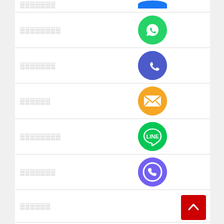░░░░░░░
[Figure (logo): WhatsApp green circle icon]
░░░░░░
[Figure (logo): Phone/call purple circle icon]
░░░░░░
[Figure (logo): Email orange circle icon]
░░░░░░░░
[Figure (logo): LINE green circle icon]
░░░░░░
[Figure (logo): Viber purple circle icon]
░░░░░░
░░░░
[Figure (logo): Green X/close circle icon]